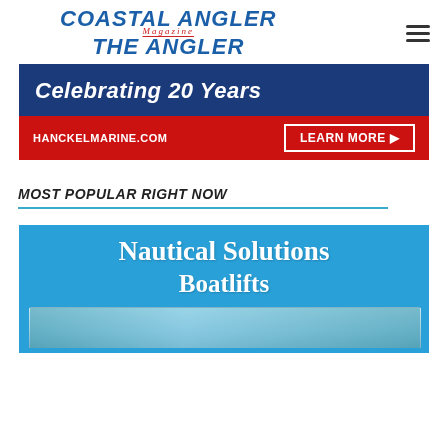COASTAL ANGLER Magazine THE ANGLER
[Figure (illustration): Hanckel Marine advertisement banner: dark blue background with 'Celebrating 20 Years' in white bold italic text, red bottom bar with 'HANCKELMARINE.COM' and 'LEARN MORE ▶' button in white outlined box]
MOST POPULAR RIGHT NOW
[Figure (illustration): Nautical Solutions Boatlifts advertisement on blue background with rope-styled lettering showing 'Nautical Solutions Boatlifts' and a partial photo of boats/marina below]